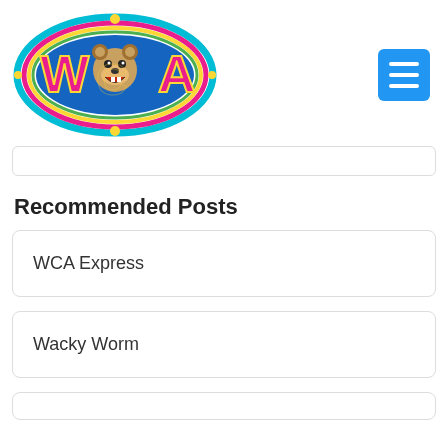[Figure (logo): WCA logo — colorful oval with letters W, C, A and a roaring bear head in the center, rainbow-colored border]
Recommended Posts
WCA Express
Wacky Worm